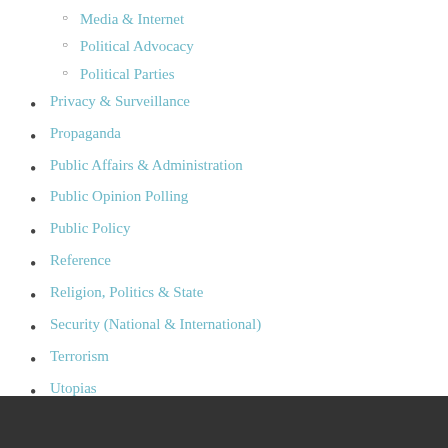Media & Internet
Political Advocacy
Political Parties
Privacy & Surveillance
Propaganda
Public Affairs & Administration
Public Opinion Polling
Public Policy
Reference
Religion, Politics & State
Security (National & International)
Terrorism
Utopias
Women in Politics
World